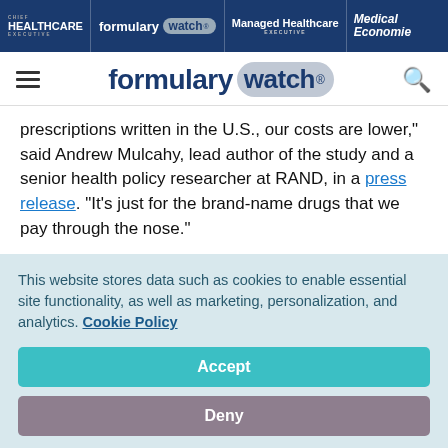HEALTHCARE EXECUTIVE | formulary watch | Managed Healthcare EXECUTIVE | Medical Economics
[Figure (logo): Formulary Watch logo with hamburger menu and search icon]
prescriptions written in the U.S., our costs are lower,” said Andrew Mulcahy, lead author of the study and a senior health policy researcher at RAND, in a press release. “It’s just for the brand-name drugs that we pay through the nose.”
The study found that among G7 nations, the United Kingdom, France and Italy have all the lowest prescription drug
This website stores data such as cookies to enable essential site functionality, as well as marketing, personalization, and analytics. Cookie Policy
Accept
Deny